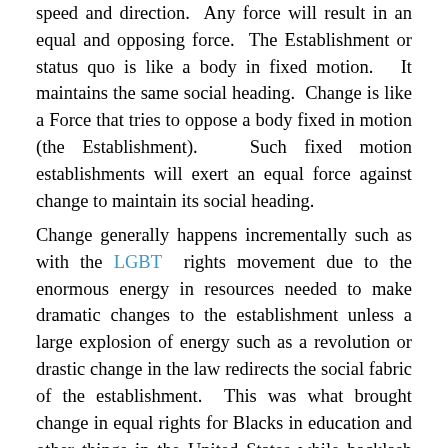speed and direction. Any force will result in an equal and opposing force. The Establishment or status quo is like a body in fixed motion. It maintains the same social heading. Change is like a Force that tries to oppose a body fixed in motion (the Establishment). Such fixed motion establishments will exert an equal force against change to maintain its social heading.
Change generally happens incrementally such as with the LGBT rights movement due to the enormous energy in resources needed to make dramatic changes to the establishment unless a large explosion of energy such as a revolution or drastic change in the law redirects the social fabric of the establishment. This was what brought change in equal rights for Blacks in education and other things in the United States while backlash from White supremacist fought hard to maintain the status quo. After